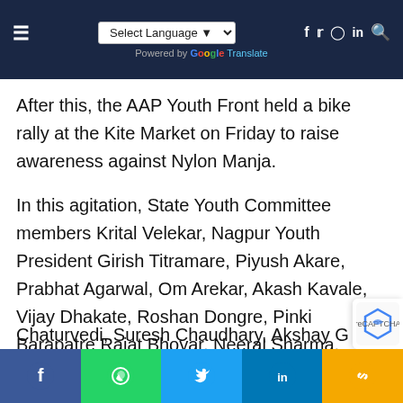Select Language | Powered by Google Translate | Social icons
After this, the AAP Youth Front held a bike rally at the Kite Market on Friday to raise awareness against Nylon Manja.
In this agitation, State Youth Committee members Krital Velekar, Nagpur Youth President Girish Titramare, Piyush Akare, Prabhat Agarwal, Om Arekar, Akash Kavale, Vijay Dhakate, Roshan Dongre, Pinki Barapatre Rajat Bhoyar, Neeraj Sharma, Pawan Bagde, Monty Nageshwar Shidhanat Shende, Sagar Maladhari, Shubham Bankar, Dheeraj Sharma, Shubham Shen, Rakesh Borkar, Dheeraj Thackeray, Pranay Karale, Vijay Dhokate, Hrithik Tumane Chaturvedi, Suresh Chaudhary, Akshay Ghatole,
Facebook | WhatsApp | Twitter | LinkedIn | Link